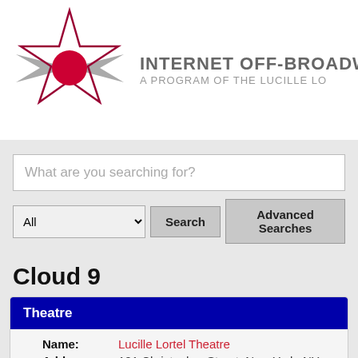[Figure (logo): Internet Off-Broadway Database logo with star graphic and circle]
INTERNET OFF-BROADWAY
A PROGRAM OF THE LUCILLE LO
What are you searching for?
All | Search | Advanced Searches
Cloud 9
Theatre
Name: Lucille Lortel Theatre
Address: 121 Christopher Street, New York, NY 10014